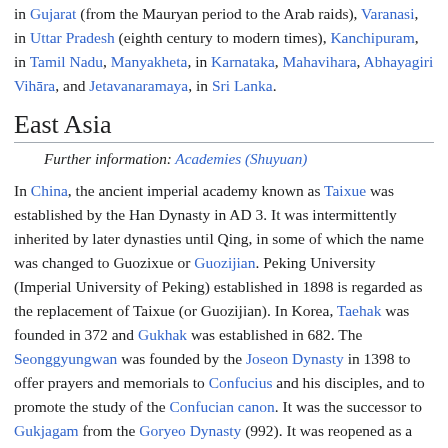in Gujarat (from the Mauryan period to the Arab raids), Varanasi, in Uttar Pradesh (eighth century to modern times), Kanchipuram, in Tamil Nadu, Manyakheta, in Karnataka, Mahavihara, Abhayagiri Vihāra, and Jetavanaramaya, in Sri Lanka.
East Asia
Further information: Academies (Shuyuan)
In China, the ancient imperial academy known as Taixue was established by the Han Dynasty in AD 3. It was intermittently inherited by later dynasties until Qing, in some of which the name was changed to Guozixue or Guozijian. Peking University (Imperial University of Peking) established in 1898 is regarded as the replacement of Taixue (or Guozijian). In Korea, Taehak was founded in 372 and Gukhak was established in 682. The Seonggyungwan was founded by the Joseon Dynasty in 1398 to offer prayers and memorials to Confucius and his disciples, and to promote the study of the Confucian canon. It was the successor to Gukjagam from the Goryeo Dynasty (992). It was reopened as a private Western-style university in 1946. In Japan, Daigakuryo was founded in 671 and Ashikaga Gakko was founded in the 9th century